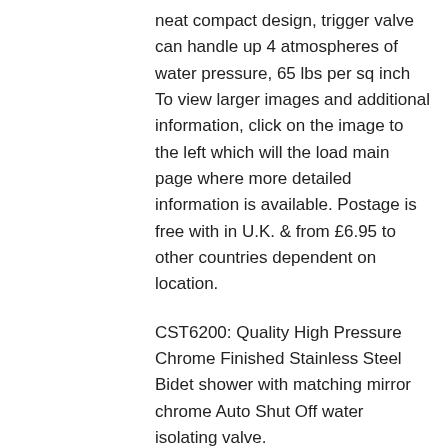neat compact design, trigger valve can handle up 4 atmospheres of water pressure, 65 lbs per sq inch To view larger images and additional information, click on the image to the left which will the load main page where more detailed information is available. Postage is free with in U.K. & from £6.95 to other countries dependent on location.
CST6200: Quality High Pressure Chrome Finished Stainless Steel Bidet shower with matching mirror chrome Auto Shut Off water isolating valve.
Elegant in design, beautiful crafted in marine grade chrome finished Stainless Steel, with high pressure ant-tangle mirror chrome hose and matching